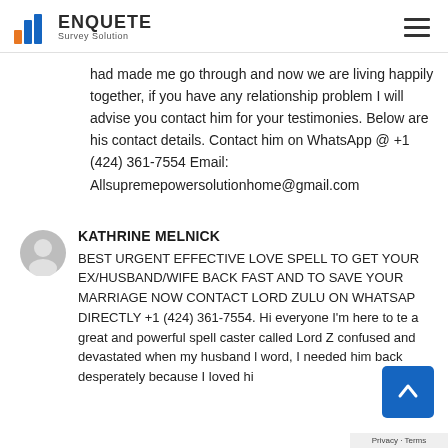ENQUETE Survey Solution
had made me go through and now we are living happily together, if you have any relationship problem I will advise you contact him for your testimonies. Below are his contact details. Contact him on WhatsApp @ +1 (424) 361-7554 Email: Allsupremepowersolutionhome@gmail.com
KATHRINE MELNICK
BEST URGENT EFFECTIVE LOVE SPELL TO GET YOUR EX/HUSBAND/WIFE BACK FAST AND TO SAVE YOUR MARRIAGE NOW CONTACT LORD ZULU ON WHATSAPP DIRECTLY +1 (424) 361-7554. Hi everyone I'm here to te a great and powerful spell caster called Lord Z confused and devastated when my husband l word, I needed him back desperately because I loved hi